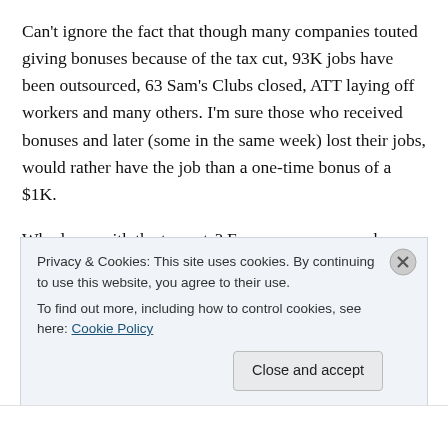Can't ignore the fact that though many companies touted giving bonuses because of the tax cut, 93K jobs have been outsourced, 63 Sam's Clubs closed, ATT laying off workers and many others. I'm sure those who received bonuses and later (some in the same week) lost their jobs, would rather have the job than a one-time bonus of a $1K.
Who loses with the tax cuts? Every poor person who ever dependent on social programs funded by tax dollars loses. Every student in America who attends a public school loses because of budget cuts. Every veteran in America
Privacy & Cookies: This site uses cookies. By continuing to use this website, you agree to their use.
To find out more, including how to control cookies, see here: Cookie Policy
Close and accept